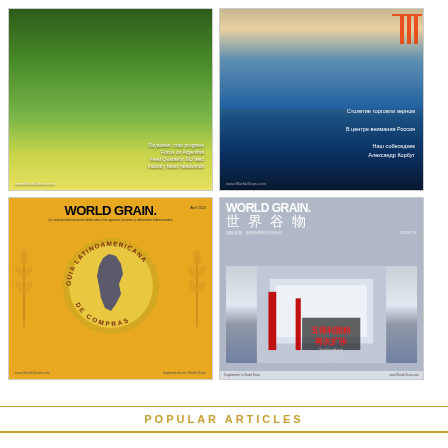[Figure (photo): World Grain magazine cover showing a green field of crops, with text overlay about EU feed industry]
[Figure (photo): World Grain magazine Russian edition cover showing a port with cranes and Russian text about grain trade]
[Figure (photo): World Grain magazine Latin American Guia Latinoamericana De Compras cover with globe showing South America on orange background]
[Figure (photo): World Grain magazine Chinese edition cover (世界谷物) showing a modern building with Chinese text overlay]
POPULAR ARTICLES